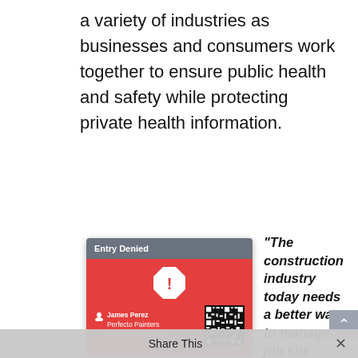a variety of industries as businesses and consumers work together to ensure public health and safety while protecting private health information.
[Figure (screenshot): Mobile app screenshot showing an 'Entry Denied' screen. Red background with a stop/warning icon. Shows user James Perez from Perfecto Painters, dated 6/15/2020 2:51 PM, with a QR code. Message reads 'Please EXIT the jobsite immediately' and 'Call the Superintendent or COVID Supervisor right away'. Footer says 'Await further instruction'.]
“The construction industry today needs a better way to manage job site check-in. Meeting the COVID-19 challenge to re-open our
Share This ×